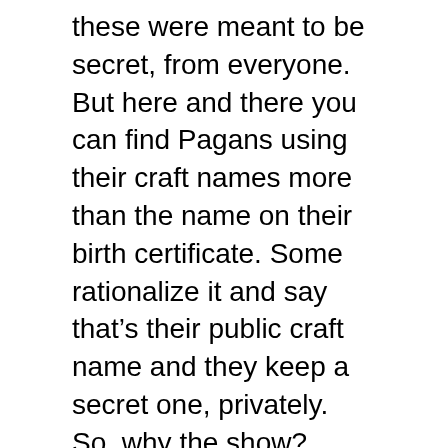these were meant to be secret, from everyone. But here and there you can find Pagans using their craft names more than the name on their birth certificate. Some rationalize it and say that's their public craft name and they keep a secret one, privately. So, why the show?
Can you be yourself and be Pagan too? I think that's what it really comes down to.
If you have to dress a certain way, display certain objects around you and change your name to fit in, where do you really fit in? Being Pagan should be comfortable, part of who you already were. It should add to you, not reprogram you.
Think about your own Pagan or Wiccan lifestyle. Are you putting on a show or are you just being